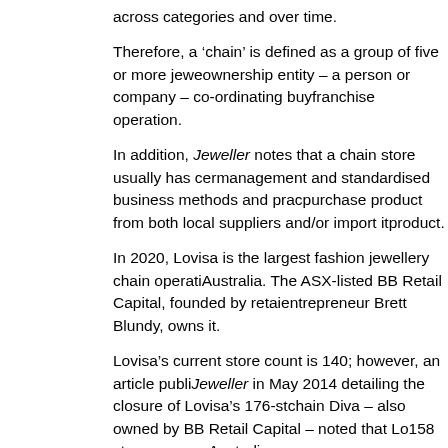across categories and over time.
Therefore, a ‘chain’ is defined as a group of five or more jewellery stores under a single ownership entity – a person or company – co-ordinating buying and operating as a franchise operation.
In addition, Jeweller notes that a chain store usually has centralised management and standardised business methods and practices. They purchase product from both local suppliers and/or import their own product.
In 2020, Lovisa is the largest fashion jewellery chain operating in Australia. The ASX-listed BB Retail Capital, founded by retail entrepreneur Brett Blundy, owns it.
Lovisa’s current store count is 140; however, an article published by Jeweller in May 2014 detailing the closure of Lovisa’s 176-store chain Diva – also owned by BB Retail Capital – noted that Lovisa had 158 stores across Australia.
Therefore, even though Lovisa has had an impressive increase in its store count over the past few years by closing at least 18